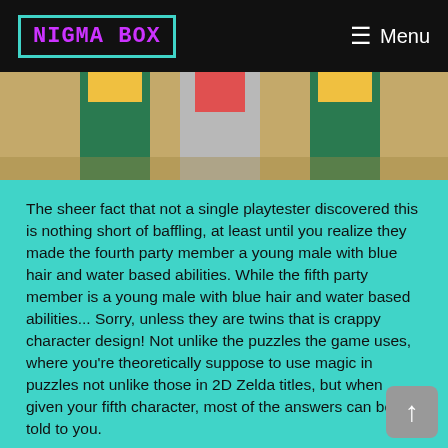NIGMA BOX | Menu
[Figure (photo): Partial photo of costumed characters or performers in colorful costumes on a sandy/outdoor background, cropped at top showing lower portion of figures]
The sheer fact that not a single playtester discovered this is nothing short of baffling, at least until you realize they made the fourth party member a young male with blue hair and water based abilities. While the fifth party member is a young male with blue hair and water based abilities... Sorry, unless they are twins that is crappy character design! Not unlike the puzzles the game uses, where you're theoretically suppose to use magic in puzzles not unlike those in 2D Zelda titles, but when given your fifth character, most of the answers can be told to you.
Pushing logs, dousing things with fire, summoning whirlwinds, adjusting water levels, all ideas that could be fun except for how menu driven they are, and how long it takes to actually